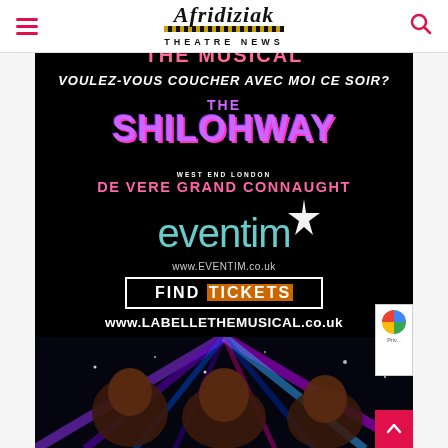Afridiziak THEATRE NEWS
[Figure (illustration): Advertisement for La Belle the Musical / The Shilohway at De Vere Grand Connaught, West End London. Black background with text: 'VOULEZ-VOUS COUCHER AVEC MOI CE SOIR?', 'THE SHILOHWAY' in purple, 'DE VERE GRAND CONNAUGHT', Eventim logo in teal with star, 'www.EVENTIM.co.uk', 'FIND TICKETS' button, 'www.LABELLETHEMUSICAL.co.uk', and three female performers at the bottom with colorful light beams.]